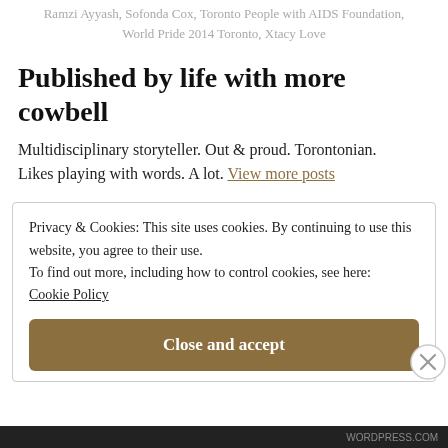Ramzi Ayyash, Sofonda Cox, Toronto People with AIDS Foundation, World Pride 2014 Toronto, Xtacy Love
Published by life with more cowbell
Multidisciplinary storyteller. Out & proud. Torontonian. Likes playing with words. A lot. View more posts
Privacy & Cookies: This site uses cookies. By continuing to use this website, you agree to their use. To find out more, including how to control cookies, see here: Cookie Policy
Close and accept